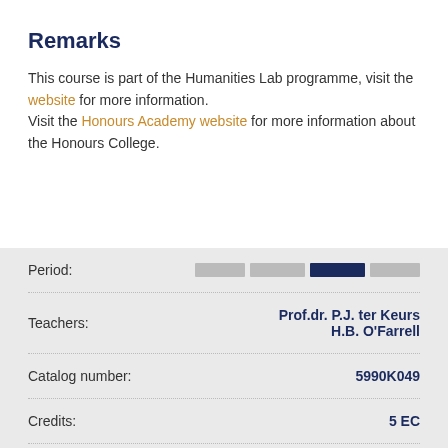Remarks
This course is part of the Humanities Lab programme, visit the website for more information. Visit the Honours Academy website for more information about the Honours College.
| Field | Value |
| --- | --- |
| Period: |  |
| Teachers: | Prof.dr. P.J. ter Keurs
H.B. O'Farrell |
| Catalog number: | 5990K049 |
| Credits: | 5 EC |
| Level: | 400 |